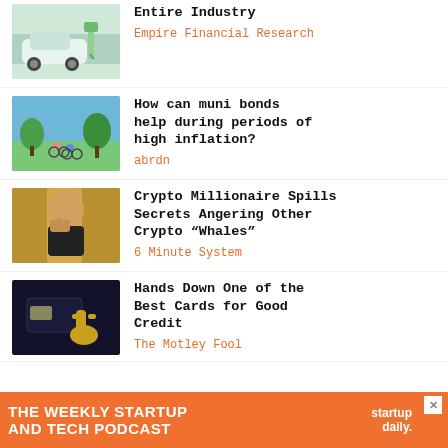[Figure (photo): Electric vehicle being charged at a charging station, white car visible]
Entire Industry
Empire Financial Research
[Figure (photo): People riding bicycles in a park with trees in background]
How can muni bonds help during periods of high inflation?
abrdn
[Figure (photo): Man with hand near face, looking thoughtful, against light background]
Crypto Millionaire Spills Secrets Angering Other Crypto “Whales”
6 Minute System
[Figure (photo): Dark background with credit card and golden hand holding it]
Hands Down One of the Best Cards for Good Credit
The Motley Fool
[Figure (infographic): Orange advertisement banner reading THE WEEKLY STARTUP AND TECH PODCAST with startup daily logo]